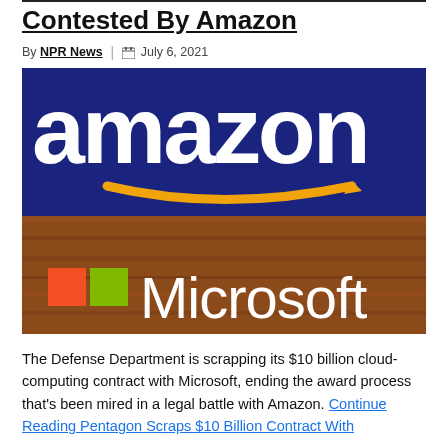Contested By Amazon
By NPR News | July 6, 2021
[Figure (photo): Amazon logo on blue background above Microsoft logo on wood-paneled background]
The Defense Department is scrapping its $10 billion cloud-computing contract with Microsoft, ending the award process that's been mired in a legal battle with Amazon. Continue Reading Pentagon Scraps $10 Billion Contract With